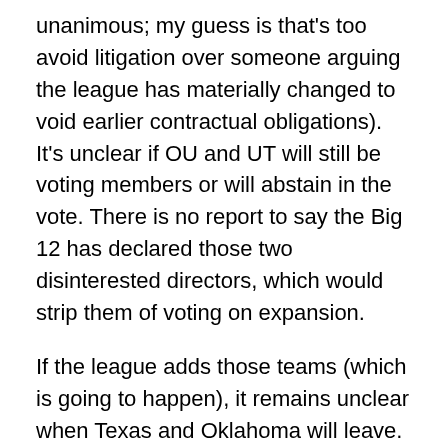unanimous; my guess is that's too avoid litigation over someone arguing the league has materially changed to void earlier contractual obligations). It's unclear if OU and UT will still be voting members or will abstain in the vote. There is no report to say the Big 12 has declared those two disinterested directors, which would strip them of voting on expansion.
If the league adds those teams (which is going to happen), it remains unclear when Texas and Oklahoma will leave. The duo maintain publicly that they won't leave until the GOR (grant of rights) expires after the 2024-2025 season. But no team has played four lame duck seasons in a conference. I'd guess the Sooners and Longhorns play the 2022 season in the Big 12, and then negotiate a settlement to avoid playing in 2023 with the new members.